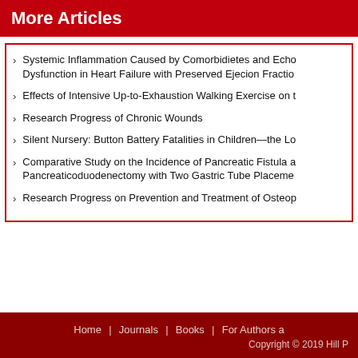More Articles
Systemic Inflammation Caused by Comorbidietes and Echo Dysfunction in Heart Failure with Preserved Ejecion Fraction
Effects of Intensive Up-to-Exhaustion Walking Exercise on t
Research Progress of Chronic Wounds
Silent Nursery: Button Battery Fatalities in Children—the Lo
Comparative Study on the Incidence of Pancreatic Fistula a Pancreaticoduodenectomy with Two Gastric Tube Placeme
Research Progress on Prevention and Treatment of Osteop
Home | Journals | Books | For Authors a
Copyright © 2019 Hill P